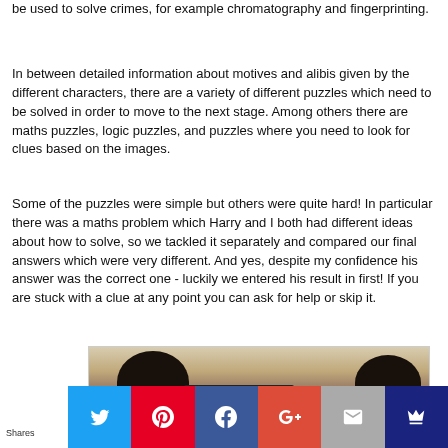be used to solve crimes, for example chromatography and fingerprinting.
In between detailed information about motives and alibis given by the different characters, there are a variety of different puzzles which need to be solved in order to move to the next stage. Among others there are maths puzzles, logic puzzles, and puzzles where you need to look for clues based on the images.
Some of the puzzles were simple but others were quite hard! In particular there was a maths problem which Harry and I both had different ideas about how to solve, so we tackled it separately and compared our final answers which were very different. And yes, despite my confidence his answer was the correct one - luckily we entered his result in first! If you are stuck with a clue at any point you can ask for help or skip it.
[Figure (photo): Two children seen from behind, looking at a laptop screen in a room setting.]
Shares